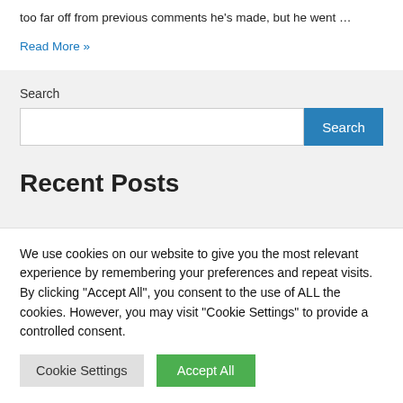too far off from previous comments he's made, but he went …
Read More »
Search
Search
Recent Posts
We use cookies on our website to give you the most relevant experience by remembering your preferences and repeat visits. By clicking "Accept All", you consent to the use of ALL the cookies. However, you may visit "Cookie Settings" to provide a controlled consent.
Cookie Settings
Accept All